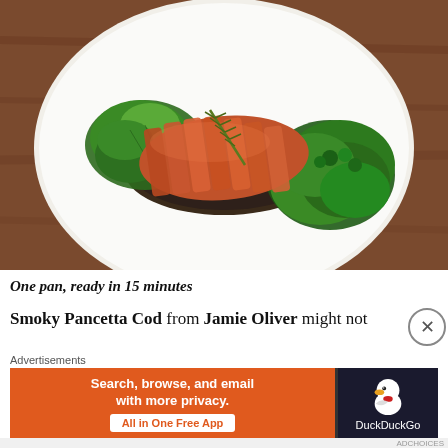[Figure (photo): A white plate on a wooden table holding a pancetta-wrapped cod fillet topped with a rosemary sprig, resting on dark lentils, surrounded by wilted green vegetables including spinach and broccoli rabe.]
One pan, ready in 15 minutes
Smoky Pancetta Cod from Jamie Oliver might not
Advertisements
[Figure (screenshot): DuckDuckGo advertisement banner: orange left panel with text 'Search, browse, and email with more privacy. All in One Free App' and dark right panel with DuckDuckGo duck logo and brand name.]